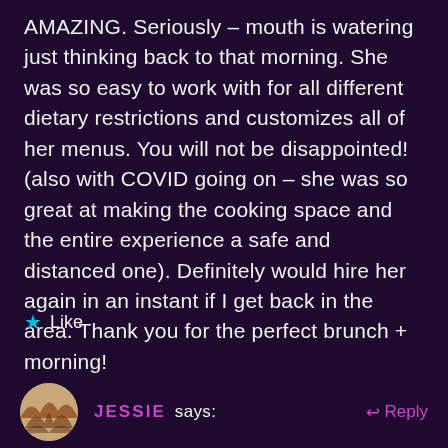AMAZING. Seriously – mouth is watering just thinking back to that morning. She was so easy to work with for all different dietary restrictions and customizes all of her menus. You will not be disappointed! (also with COVID going on – she was so great at making the cooking space and the entire experience a safe and distanced one). Definitely would hire her again in an instant if I get back in the area. Thank you for the perfect brunch + morning!
★ Like
JESSIE says:  ↩ Reply